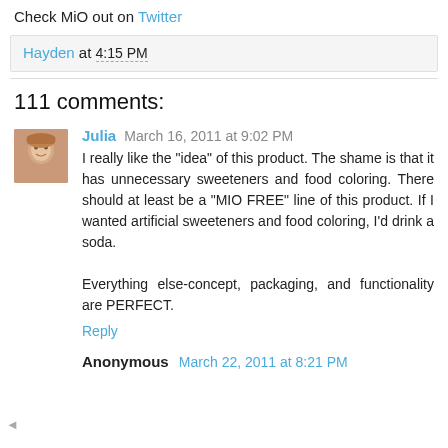Check MiO out on Twitter
Hayden at 4:15 PM
111 comments:
Julia March 16, 2011 at 9:02 PM
I really like the "idea" of this product. The shame is that it has unnecessary sweeteners and food coloring. There should at least be a "MIO FREE" line of this product. If I wanted artificial sweeteners and food coloring, I'd drink a soda.

Everything else-concept, packaging, and functionality are PERFECT.
Reply
Anonymous March 22, 2011 at 8:21 PM